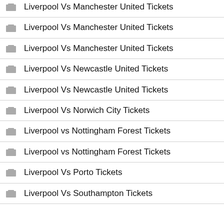Liverpool Vs Manchester United Tickets
Liverpool Vs Manchester United Tickets
Liverpool Vs Manchester United Tickets
Liverpool Vs Newcastle United Tickets
Liverpool Vs Newcastle United Tickets
Liverpool Vs Norwich City Tickets
Liverpool vs Nottingham Forest Tickets
Liverpool vs Nottingham Forest Tickets
Liverpool Vs Porto Tickets
Liverpool Vs Southampton Tickets